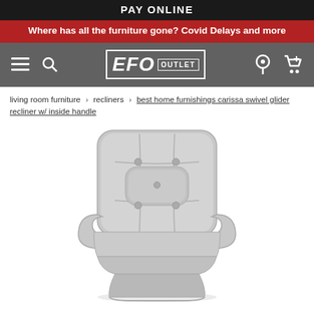PAY ONLINE
Where has all the furniture gone? Covid Delays and more
[Figure (logo): EFO Outlet navigation bar with hamburger menu, search icon, EFO Outlet logo, location icon, and cart icon]
living room furniture > recliners > best home furnishings carissa swivel glider recliner w/ inside handle
[Figure (photo): Light gray tufted swivel glider recliner chair with rolled arms and button tufted back cushion, front-facing view on white background]